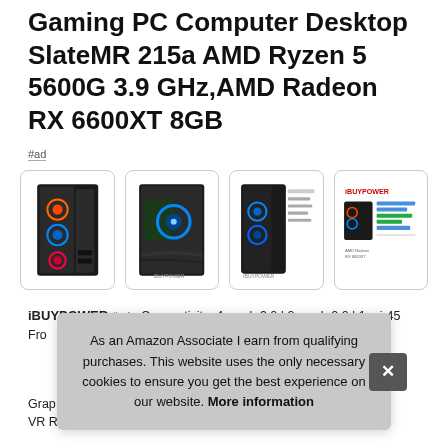Gaming PC Computer Desktop SlateMR 215a AMD Ryzen 5 5600G 3.9 GHz,AMD Radeon RX 6600XT 8GB
#ad
[Figure (photo): Four product images of gaming PC desktop computers with RGB fans, plus a spec sheet image]
iBUYPOWER #ad - Connectivity: 4 x usb 3.0 | 2 x usb 2.0 | 1x rj-45 From
Graphics VR Ready | 1x HDMI | 3x Display Port. Special add-ons: 802.
As an Amazon Associate I earn from qualifying purchases. This website uses the only necessary cookies to ensure you get the best experience on our website. More information